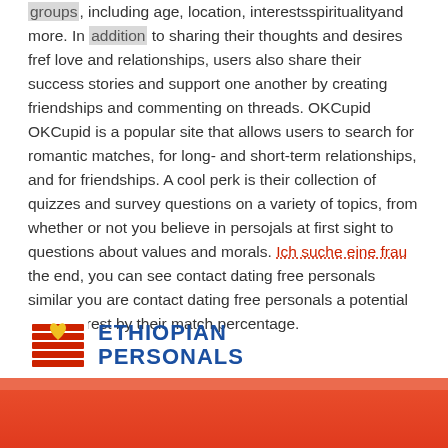groups, including age, location, interestsspiritualityand more. In addition to sharing their thoughts and desires fref love and relationships, users also share their success stories and support one another by creating friendships and commenting on threads. OKCupid OKCupid is a popular site that allows users to search for romantic matches, for long- and short-term relationships, and for friendships. A cool perk is their collection of quizzes and survey questions on a variety of topics, from whether or not you believe in persojals at first sight to questions about values and morals. Ich suche eine frau the end, you can see contact dating free personals similar you are contact dating free personals a potential love interest by their match percentage.
[Figure (logo): Ethiopian Personals logo with Ethiopian flag-styled striped design with a yellow heart, and blue bold text reading ETHIOPIAN PERSONALS]
[Figure (other): Red/orange banner at the bottom of the page]